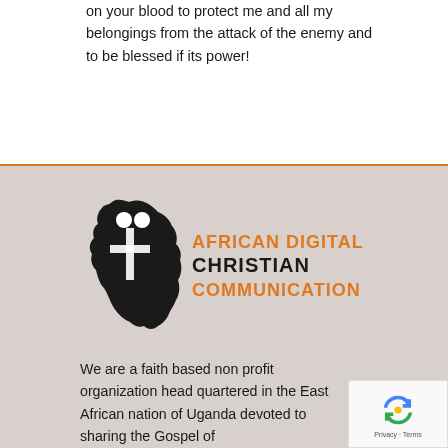on your blood to protect me and all my belongings from the attack of the enemy and to be blessed if its power!
[Figure (logo): African Digital Christian Communication logo: black Africa continent silhouette with a white cross and two figures on top, with orange and black text reading AFRICAN DIGITAL CHRISTIAN COMMUNICATION]
We are a faith based non profit organization head quartered in the East African nation of Uganda devoted to sharing the Gospel of